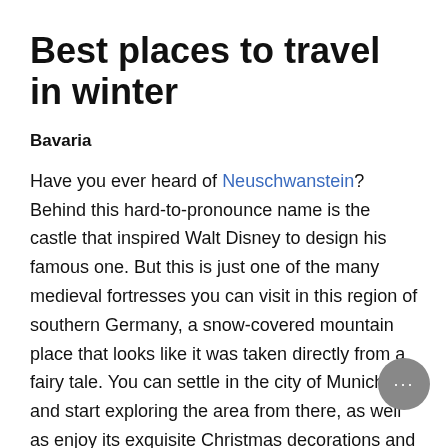Best places to travel in winter
Bavaria
Have you ever heard of Neuschwanstein? Behind this hard-to-pronounce name is the castle that inspired Walt Disney to design his famous one. But this is just one of the many medieval fortresses you can visit in this region of southern Germany, a snow-covered mountain place that looks like it was taken directly from a fairy tale. You can settle in the city of Munich and start exploring the area from there, as well as enjoy its exquisite Christmas decorations and popular Christmas market, a set of small street stalls where you can taste glühwein, the hot wine with